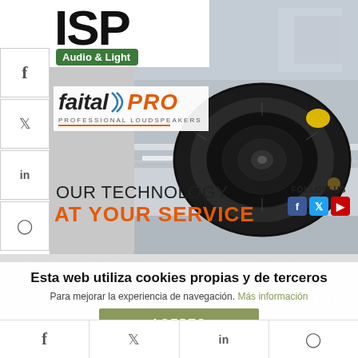[Figure (logo): ISP Audio & Light logo with green badge and Faital PRO professional loudspeakers banner advertisement showing a speaker on a production line with text OUR TECHNOLOGY AT YOUR SERVICE and FOLLOW US with social icons]
Esta web utiliza cookies propias y de terceros
Para mejorar la experiencia de navegación. Más información
ACEPTO
[Figure (infographic): Bottom social bar with Facebook, Twitter, LinkedIn, and Instagram icons]